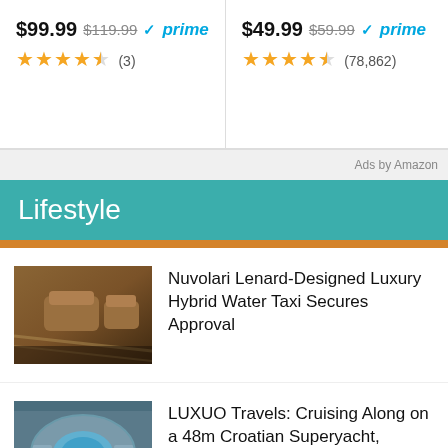$99.99 $119.99 ✓prime ★★★★½ (3)
$49.99 $59.99 ✓prime ★★★★½ (78,862)
Ads by Amazon
Lifestyle
[Figure (photo): Aerial view of a luxury boat interior with leather seating]
Nuvolari Lenard-Designed Luxury Hybrid Water Taxi Secures Approval
[Figure (photo): Aerial view of a superyacht deck with a pool]
LUXUO Travels: Cruising Along on a 48m Croatian Superyacht, Freedom (Part 2)
[Figure (photo): Partial view of a superyacht at sea]
LUXUO Travels: Cruising Along on a 48m